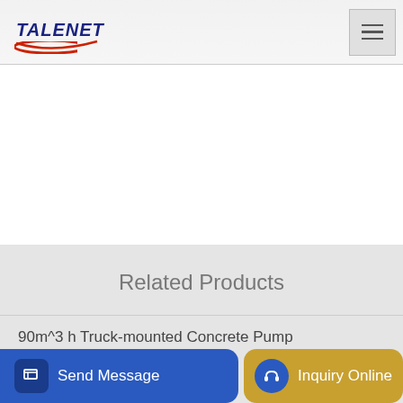TALENET
Related Products
90m^3 h Truck-mounted Concrete Pump
25m3 fh mini dry mix cement concrete batching plant
...s Ccp...
Send Message | Inquiry Online